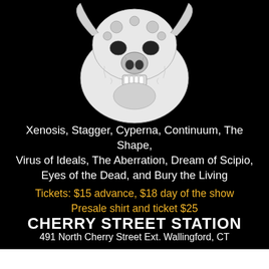[Figure (illustration): Black and white detailed sketch/illustration of a grotesque creature or skull-like face with horns or appendages, rendered in pencil-style line art against a black background]
Xenosis, Stagger, Cyperna, Continuum, The Shape, Virus of Ideals, The Aberration, Dream of Scipio, Eyes of the Dead, and Bury the Living
Tickets: $15 advance, $18 day of the show
Presale shirt and ticket $25
CHERRY STREET STATION
491 North Cherry Street Ext. Wallingford, CT